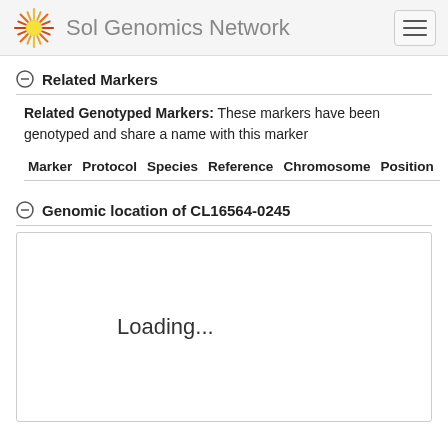Sol Genomics Network
Related Markers
Related Genotyped Markers: These markers have been genotyped and share a name with this marker
| Marker | Protocol | Species | Reference | Chromosome | Position |
| --- | --- | --- | --- | --- | --- |
Genomic location of CL16564-0245
[Figure (other): Loading... placeholder box for genomic location viewer]